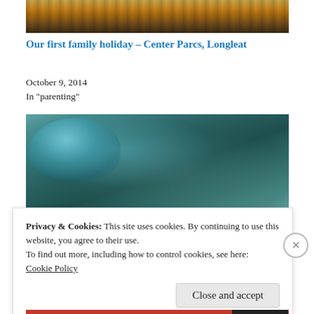[Figure (photo): Forest/trees silhouetted against orange sunset sky — top portion of a holiday photo]
Our first family holiday – Center Parcs, Longleat
October 9, 2014
In "parenting"
[Figure (photo): Close-up photo of a teal/green plush turtle toy (Cloud B Twilight Turtle) with a translucent blue shell, lying on white bedding]
Privacy & Cookies: This site uses cookies. By continuing to use this website, you agree to their use.
To find out more, including how to control cookies, see here:
Cookie Policy
Close and accept